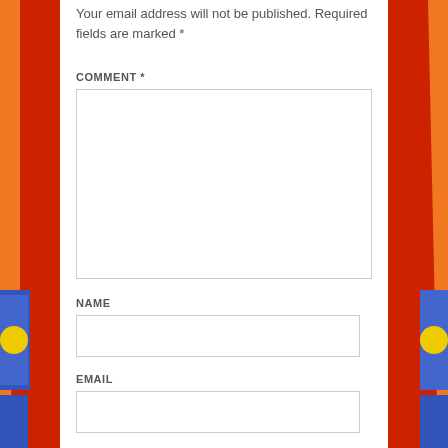[Figure (illustration): Decorative colorful side illustrations on left and right edges of the page featuring orange, red, blue colors and circular yellow elements, partially cropped]
Your email address will not be published. Required fields are marked *
COMMENT *
NAME
EMAIL